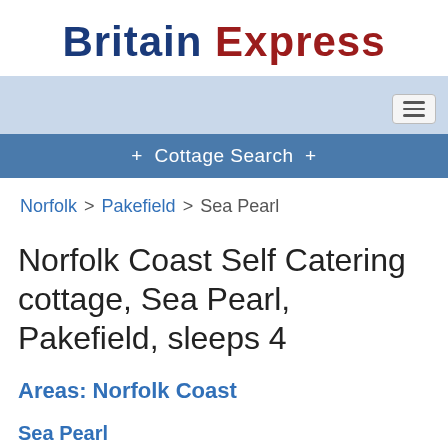Britain Express
[Figure (screenshot): Navigation bar with light blue background and hamburger menu icon on right, followed by a blue Cottage Search bar]
Norfolk > Pakefield > Sea Pearl
Norfolk Coast Self Catering cottage, Sea Pearl, Pakefield, sleeps 4
Areas: Norfolk Coast
Sea Pearl
Pakefield